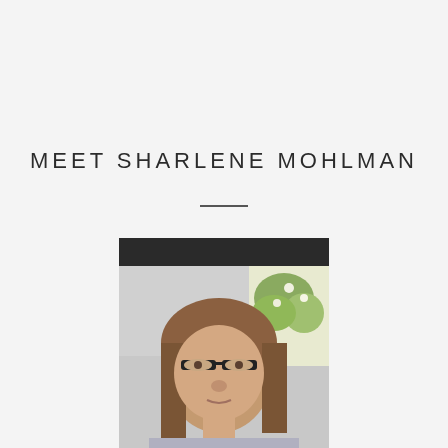MEET SHARLENE MOHLMAN
[Figure (photo): Portrait photo of Sharlene Mohlman, a woman with long brown hair and dark-framed glasses, outdoors with hanging plants visible in the background and a dark roof structure above.]